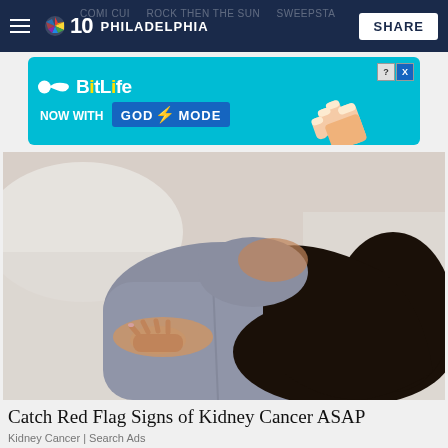NBC 10 Philadelphia | SHARE
[Figure (screenshot): BitLife advertisement banner with cyan background — 'BitLife NOW WITH GOD MODE' with pointing hand graphic]
[Figure (photo): Woman lying on a bed in a grey top, holding her lower back/abdomen with both hands, dark long hair spread out]
Catch Red Flag Signs of Kidney Cancer ASAP
Kidney Cancer | Search Ads